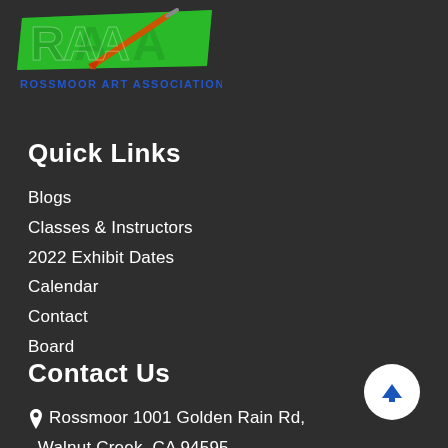[Figure (logo): Rossmoor Art Association logo with stylized RAA letters in green and a paintbrush, text 'ROSSMOOR ART ASSOCIATION' in blue below]
Quick Links
Blogs
Classes & Instructors
2022 Exhibit Dates
Calendar
Contact
Board
Contact Us
Rossmoor 1001 Golden Rain Rd, Walnut Creek, CA 94595